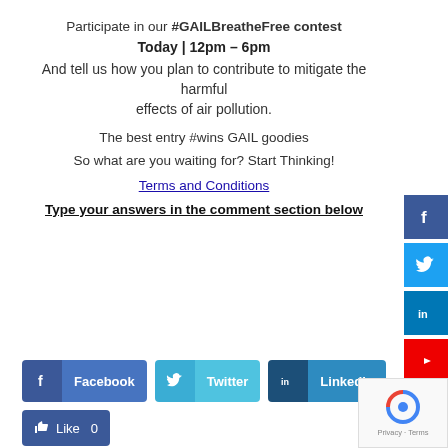Participate in our #GAILBreatheFree contest
Today | 12pm – 6pm
And tell us how you plan to contribute to mitigate the harmful effects of air pollution.
The best entry #wins GAIL goodies
So what are you waiting for? Start Thinking!
Terms and Conditions
Type your answers in the comment section below
[Figure (infographic): Social media share buttons: Facebook, Twitter, LinkedIn; Like button; social media icon links on right side (Facebook, Twitter, LinkedIn, YouTube); reCAPTCHA widget]